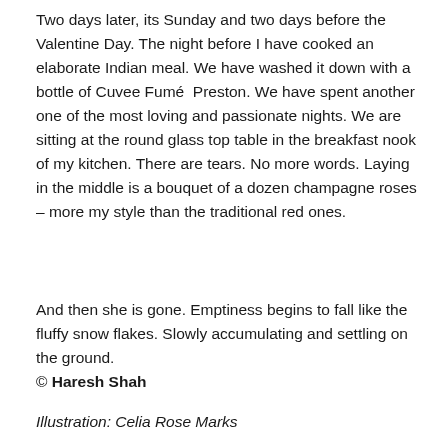Two days later, its Sunday and two days before the Valentine Day. The night before I have cooked an elaborate Indian meal. We have washed it down with a bottle of Cuvee Fumé  Preston. We have spent another one of the most loving and passionate nights. We are sitting at the round glass top table in the breakfast nook of my kitchen. There are tears. No more words. Laying in the middle is a bouquet of a dozen champagne roses – more my style than the traditional red ones.
And then she is gone. Emptiness begins to fall like the fluffy snow flakes. Slowly accumulating and settling on the ground.
© Haresh Shah
Illustration: Celia Rose Marks